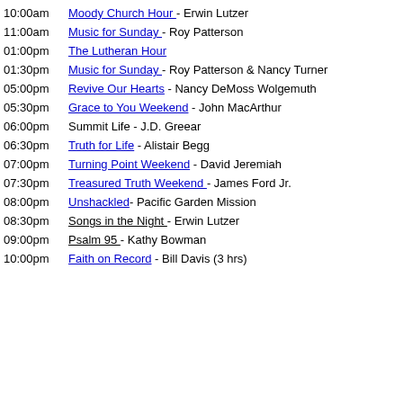10:00am  Moody Church Hour - Erwin Lutzer
11:00am  Music for Sunday - Roy Patterson
01:00pm  The Lutheran Hour
01:30pm  Music for Sunday - Roy Patterson & Nancy Turner
05:00pm  Revive Our Hearts - Nancy DeMoss Wolgemuth
05:30pm  Grace to You Weekend - John MacArthur
06:00pm  Summit Life - J.D. Greear
06:30pm  Truth for Life - Alistair Begg
07:00pm  Turning Point Weekend - David Jeremiah
07:30pm  Treasured Truth Weekend - James Ford Jr.
08:00pm  Unshackled- Pacific Garden Mission
08:30pm  Songs in the Night - Erwin Lutzer
09:00pm  Psalm 95 - Kathy Bowman
10:00pm  Faith on Record - Bill Davis (3 hrs)